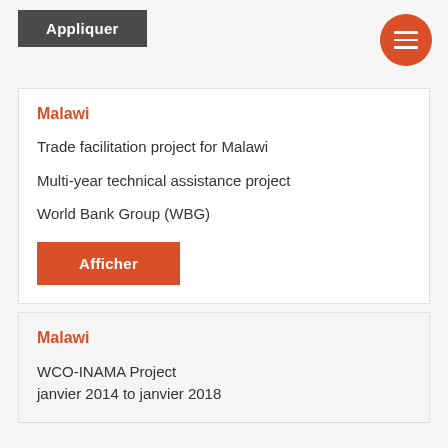Appliquer
Malawi
Trade facilitation project for Malawi
Multi-year technical assistance project
World Bank Group (WBG)
Afficher
Malawi
WCO-INAMA Project
janvier 2014 to janvier 2018